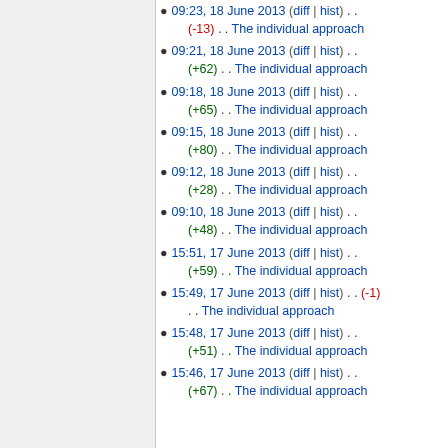09:23, 18 June 2013 (diff | hist) . . (-13) . . The individual approach
09:21, 18 June 2013 (diff | hist) . . (+62) . . The individual approach
09:18, 18 June 2013 (diff | hist) . . (+65) . . The individual approach
09:15, 18 June 2013 (diff | hist) . . (+80) . . The individual approach
09:12, 18 June 2013 (diff | hist) . . (+28) . . The individual approach
09:10, 18 June 2013 (diff | hist) . . (+48) . . The individual approach
15:51, 17 June 2013 (diff | hist) . . (+59) . . The individual approach
15:49, 17 June 2013 (diff | hist) . . (-1) . . The individual approach
15:48, 17 June 2013 (diff | hist) . . (+51) . . The individual approach
15:46, 17 June 2013 (diff | hist) . . (+67) . . The individual approach